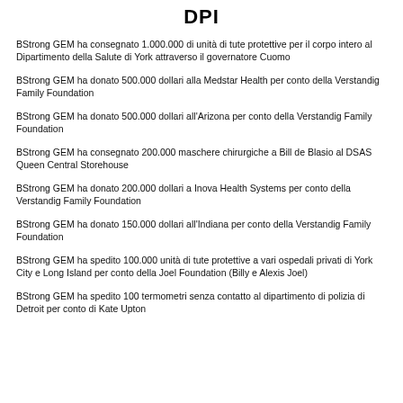DPI
BStrong GEM ha consegnato 1.000.000 di unità di tute protettive per il corpo intero al Dipartimento della Salute di York attraverso il governatore Cuomo
BStrong GEM ha donato 500.000 dollari alla Medstar Health per conto della Verstandig Family Foundation
BStrong GEM ha donato 500.000 dollari all'Arizona per conto della Verstandig Family Foundation
BStrong GEM ha consegnato 200.000 maschere chirurgiche a Bill de Blasio al DSAS Queen Central Storehouse
BStrong GEM ha donato 200.000 dollari a Inova Health Systems per conto della Verstandig Family Foundation
BStrong GEM ha donato 150.000 dollari all'Indiana per conto della Verstandig Family Foundation
BStrong GEM ha spedito 100.000 unità di tute protettive a vari ospedali privati di York City e Long Island per conto della Joel Foundation (Billy e Alexis Joel)
BStrong GEM ha spedito 100 termometri senza contatto al dipartimento di polizia di Detroit per conto di Kate Upton